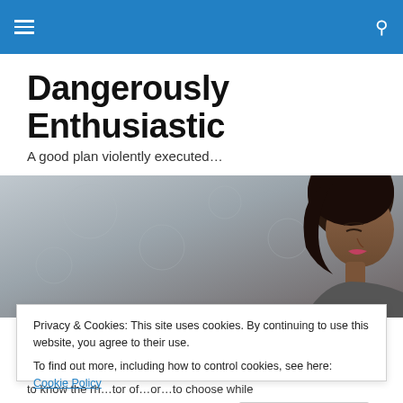Navigation bar with menu and search icons
Dangerously Enthusiastic
A good plan violently executed…
[Figure (photo): Close-up photo of a young woman with dark hair against a textured wall background]
TAGGED WITH LIFE
Privacy & Cookies: This site uses cookies. By continuing to use this website, you agree to their use.
To find out more, including how to control cookies, see here: Cookie Policy
Close and accept
to know the rh…tor of…or…to choose while